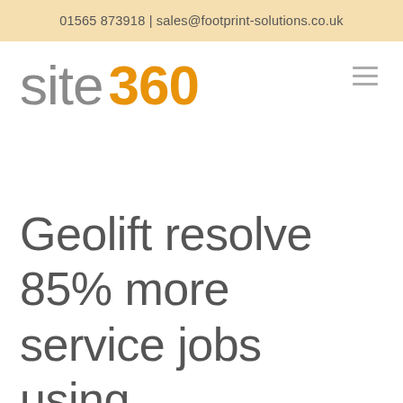01565 873918 | sales@footprint-solutions.co.uk
site 360
Geolift resolve 85% more service jobs using